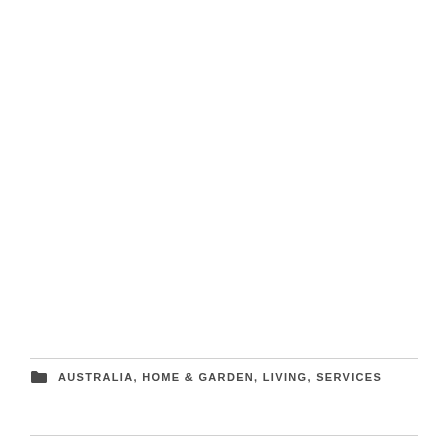AUSTRALIA, HOME & GARDEN, LIVING, SERVICES